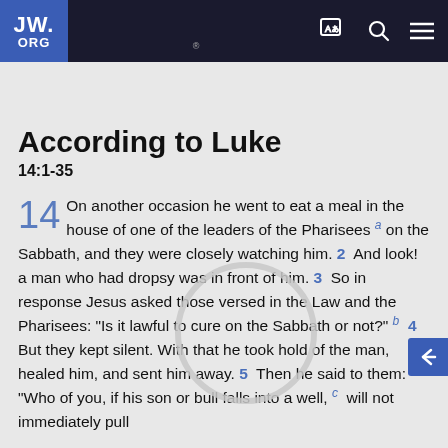JW.ORG
Lu 14
According to Luke
14:1-35
14  On another occasion he went to eat a meal in the house of one of the leaders of the Pharisees a on the Sabbath, and they were closely watching him. 2 And look! a man who had dropsy was in front of him. 3 So in response Jesus asked those versed in the Law and the Pharisees: “Is it lawful to cure on the Sabbath or not?” b 4 But they kept silent. With that he took hold of the man, healed him, and sent him away. 5 Then he said to them: “Who of you, if his son or bull falls into a well, c will not immediately pull